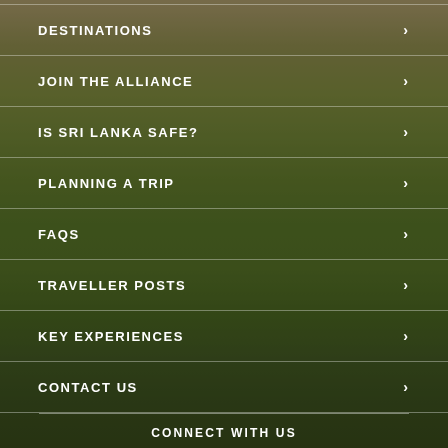[Figure (photo): Aerial landscape view of Sri Lanka with green valleys, rice fields, and tropical forest under a hazy golden-green sky]
DESTINATIONS
JOIN THE ALLIANCE
IS SRI LANKA SAFE?
PLANNING A TRIP
FAQS
TRAVELLER POSTS
KEY EXPERIENCES
CONTACT US
CONNECT WITH US